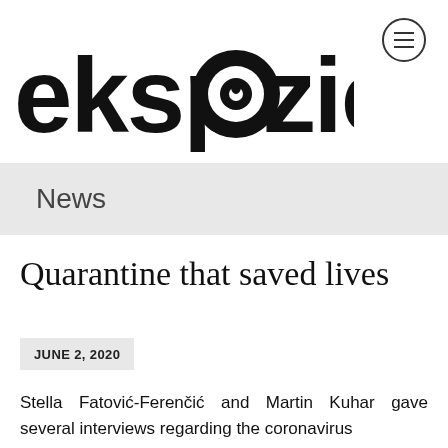[Figure (logo): ekspozicija logo in large bold black lowercase letters with a camera aperture/eye icon replacing the letter 'o']
News
Quarantine that saved lives
JUNE 2, 2020
Stella Fatović-Ferenčić and Martin Kuhar gave several interviews regarding the coronavirus